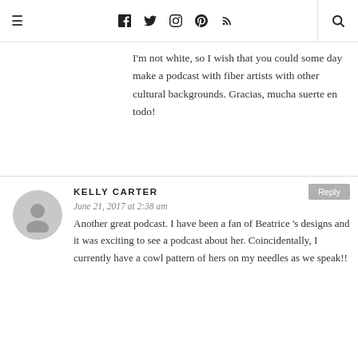≡  f  t  ☷  pinterest  rss  🔍
I'm not white, so I wish that you could some day make a podcast with fiber artists with other cultural backgrounds. Gracias, mucha suerte en todo!
KELLY CARTER
June 21, 2017 at 2:38 am
Another great podcast. I have been a fan of Beatrice 's designs and it was exciting to see a podcast about her. Coincidentally, I currently have a cowl pattern of hers on my needles as we speak!!